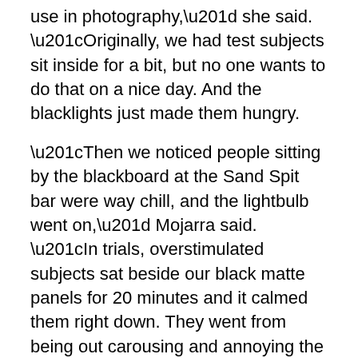use in photography,” she said. “Originally, we had test subjects sit inside for a bit, but no one wants to do that on a nice day. And the blacklights just made them hungry.
“Then we noticed people sitting by the blackboard at the Sand Spit bar were way chill, and the lightbulb went on,” Mojarra said. “In trials, overstimulated subjects sat beside our black matte panels for 20 minutes and it calmed them right down. They went from being out carousing and annoying the more low-key guests, to being low key themselves.”
The island’s scientific community is skeptical.
“Whatever Doc and Christina are doing may calm people down, but I’ve seen no causal relationship between sedate individuals and repurposed blackboards,” Tiperon University Blacktin biology chair Catalina Luxfor said. “I